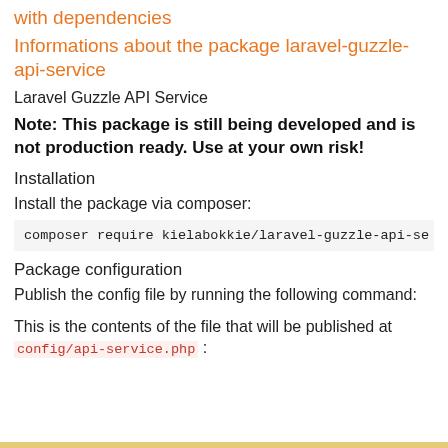with dependencies
Informations about the package laravel-guzzle-api-service
Laravel Guzzle API Service
Note: This package is still being developed and is not production ready. Use at your own risk!
Installation
Install the package via composer:
composer require kielabokkie/laravel-guzzle-api-se
Package configuration
Publish the config file by running the following command:
This is the contents of the file that will be published at config/api-service.php :